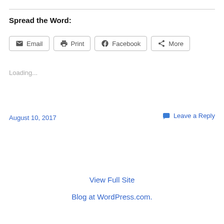Spread the Word:
[Figure (other): Share buttons: Email, Print, Facebook, More]
Loading...
August 10, 2017
Leave a Reply
View Full Site
Blog at WordPress.com.